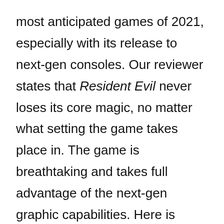most anticipated games of 2021, especially with its release to next-gen consoles. Our reviewer states that Resident Evil never loses its core magic, no matter what setting the game takes place in. The game is breathtaking and takes full advantage of the next-gen graphic capabilities. Here is CGMs review of Resident Evil Village.
Final Thoughts: Resident Evil Village is a worthy sequel that takes full advantage of its Gothic setting, with Capcom delivering on